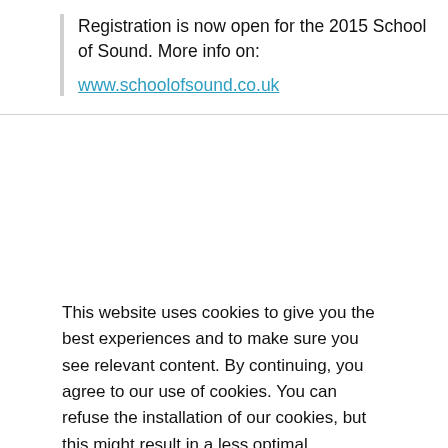Registration is now open for the 2015 School of Sound. More info on:
www.schoolofsound.co.uk
This website uses cookies to give you the best experiences and to make sure you see relevant content. By continuing, you agree to our use of cookies. You can refuse the installation of our cookies, but this might result in a less optimal experience. Read more.
I AGREE